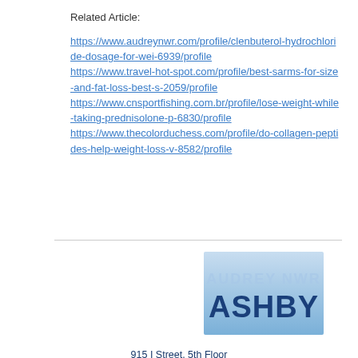Related Article:
https://www.audreynwr.com/profile/clenbuterol-hydrochloride-dosage-for-wei-6939/profile https://www.travel-hot-spot.com/profile/best-sarms-for-size-and-fat-loss-best-s-2059/profile https://www.cnsportfishing.com.br/profile/lose-weight-while-taking-prednisolone-p-6830/profile https://www.thecolorduchess.com/profile/do-collagen-peptides-help-weight-loss-v-8582/profile
[Figure (logo): Ashby logo - stylized text showing ASHBY in bold blue letters with a lighter watermark text above]
915 I Street, 5th Floor
Sacramento, CA 95814
916 808 7001